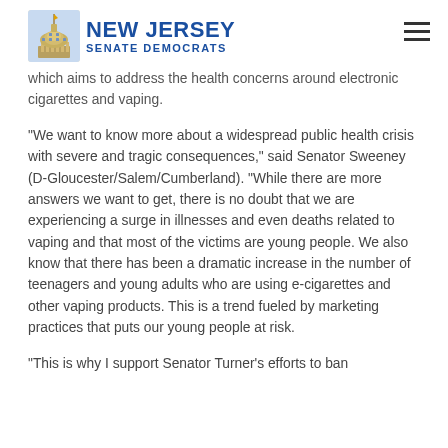New Jersey Senate Democrats
which aims to address the health concerns around electronic cigarettes and vaping.
“We want to know more about a widespread public health crisis with severe and tragic consequences,” said Senator Sweeney (D-Gloucester/Salem/Cumberland). “While there are more answers we want to get, there is no doubt that we are experiencing a surge in illnesses and even deaths related to vaping and that most of the victims are young people. We also know that there has been a dramatic increase in the number of teenagers and young adults who are using e-cigarettes and other vaping products. This is a trend fueled by marketing practices that puts our young people at risk.
“This is why I support Senator Turner’s efforts to ban